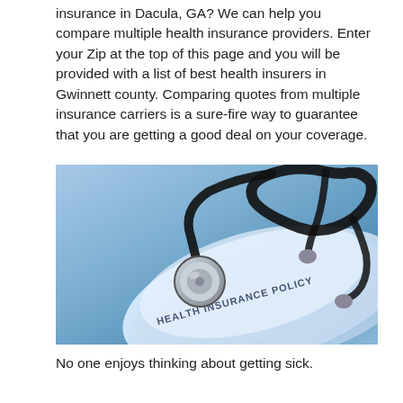insurance in Dacula, GA? We can help you compare multiple health insurance providers. Enter your Zip at the top of this page and you will be provided with a list of best health insurers in Gwinnett county. Comparing quotes from multiple insurance carriers is a sure-fire way to guarantee that you are getting a good deal on your coverage.
[Figure (photo): A stethoscope resting on top of a document labeled 'HEALTH INSURANCE POLICY', photographed with a blue-tinted background]
No one enjoys thinking about getting sick.